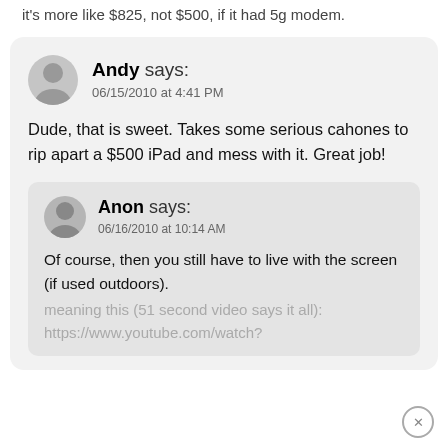it's more like $825, not $500, if it had 5g modem.
Andy says:
06/15/2010 at 4:41 PM
Dude, that is sweet. Takes some serious cahones to rip apart a $500 iPad and mess with it. Great job!
Anon says:
06/16/2010 at 10:14 AM
Of course, then you still have to live with the screen (if used outdoors).
meaning this (51 second video says it all):
https://www.youtube.com/watch?